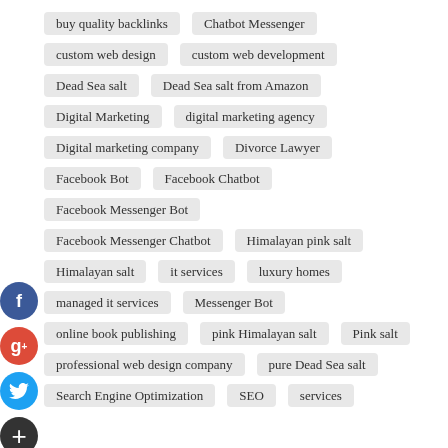buy quality backlinks
Chatbot Messenger
custom web design
custom web development
Dead Sea salt
Dead Sea salt from Amazon
Digital Marketing
digital marketing agency
Digital marketing company
Divorce Lawyer
Facebook Bot
Facebook Chatbot
Facebook Messenger Bot
Facebook Messenger Chatbot
Himalayan pink salt
Himalayan salt
it services
luxury homes
managed it services
Messenger Bot
online book publishing
pink Himalayan salt
Pink salt
professional web design company
pure Dead Sea salt
Search Engine Optimization
SEO
services